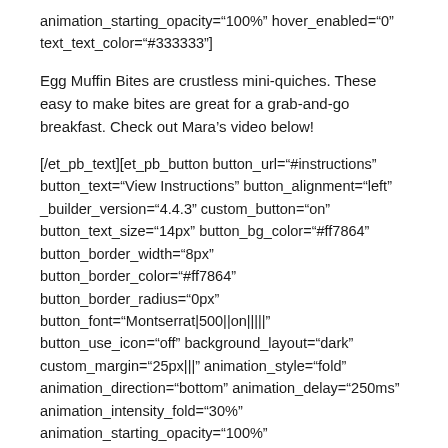animation_starting_opacity="100%" hover_enabled="0" text_text_color="#333333"]
Egg Muffin Bites are crustless mini-quiches. These easy to make bites are great for a grab-and-go breakfast. Check out Mara’s video below!
[/et_pb_text][et_pb_button button_url="#instructions" button_text="View Instructions" button_alignment="left" _builder_version="4.4.3" custom_button="on" button_text_size="14px" button_bg_color="#ff7864" button_border_width="8px" button_border_color="#ff7864" button_border_radius="0px" button_font="Montserrat|500||on|||||" button_use_icon="off" background_layout="dark" custom_margin="25px|||" animation_style="fold" animation_direction="bottom" animation_delay="250ms" animation_intensity_fold="30%" animation_starting_opacity="100%" button_text_size__hover_enabled="off" button_one_text_size__hover_enabled="off" button_two_text_size__hover_enabled="off" button_text_color__hover_enabled="off"